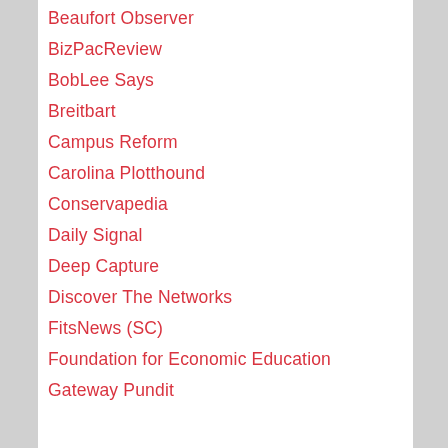Beaufort Observer
BizPacReview
BobLee Says
Breitbart
Campus Reform
Carolina Plotthound
Conservapedia
Daily Signal
Deep Capture
Discover The Networks
FitsNews (SC)
Foundation for Economic Education
Gateway Pundit